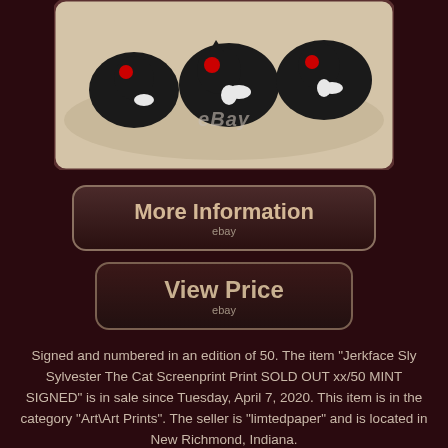[Figure (photo): Product photo of a screenprint artwork by Jerkface featuring Sylvester The Cat characters in black, white and red, displayed on a surface. eBay watermark visible.]
More Information
ebay
View Price
ebay
Signed and numbered in an edition of 50. The item "Jerkface Sly Sylvester The Cat Screenprint Print SOLD OUT xx/50 MINT SIGNED" is in sale since Tuesday, April 7, 2020. This item is in the category "Art\Art Prints". The seller is "limtedpaper" and is located in New Richmond, Indiana.
This item can be shipped to United States, Canada, United Kingdom, Denmark, Romania, Slovakia, Bulgaria, Czech republic, Finland, Hungary, Latvia,